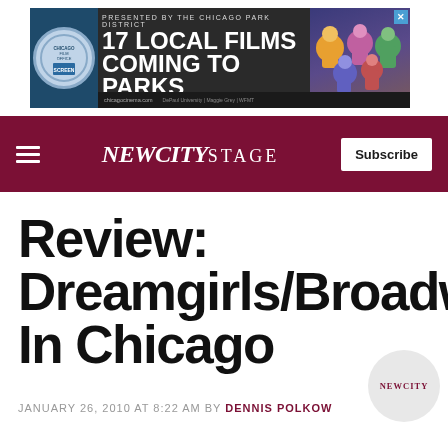[Figure (other): Advertisement banner for Chicago Park District: '17 Local Films Coming To Parks, August 29 – September 3' with colorful illustrated characters on the right and a circular logo on the left.]
NEWCITYSTAGE — Subscribe
Review: Dreamgirls/Broadway In Chicago
JANUARY 26, 2010 AT 8:22 AM BY DENNIS POLKOW